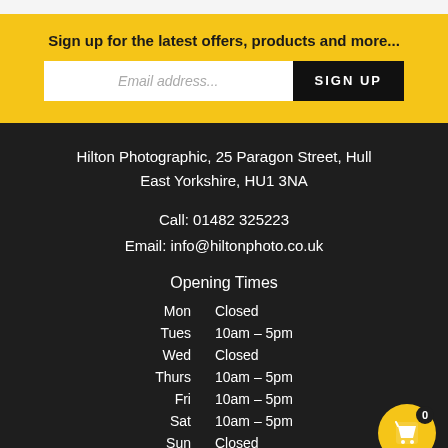Sign up for the latest offers, products and more...
Email address... SIGN UP
Hilton Photographic, 25 Paragon Street, Hull
East Yorkshire, HU1 3NA
Call: 01482 325223
Email: info@hiltonphoto.co.uk
Opening Times
| Day | Hours |
| --- | --- |
| Mon | Closed |
| Tues | 10am – 5pm |
| Wed | Closed |
| Thurs | 10am – 5pm |
| Fri | 10am – 5pm |
| Sat | 10am – 5pm |
| Sun | Closed |